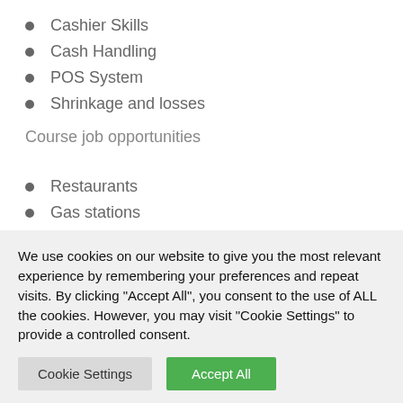Cashier Skills
Cash Handling
POS System
Shrinkage and losses
Course job opportunities
Restaurants
Gas stations
We use cookies on our website to give you the most relevant experience by remembering your preferences and repeat visits. By clicking "Accept All", you consent to the use of ALL the cookies. However, you may visit "Cookie Settings" to provide a controlled consent.
Cookie Settings | Accept All